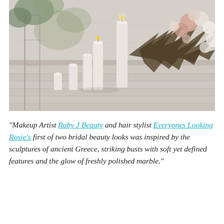[Figure (photo): Wedding decoration photo showing pillar candles of varying heights arranged on a light grey wooden floor, with a large dramatic floral arrangement featuring dried palm leaves and white and blush roses in the background. A geometric frame/stand is visible on the left side.]
“Makeup Artist Ruby J Beauty and hair stylist Everyones Looking Rosie’s first of two bridal beauty looks was inspired by the sculptures of ancient Greece, striking busts with soft yet defined features and the glow of freshly polished marble.”